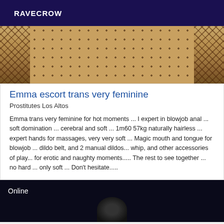RAVECROW
[Figure (photo): Close-up photo of legs in fishnet stockings and polka-dot fabric, cropped view]
Emma escort trans very feminine
Prostitutes Los Altos
Emma trans very feminine for hot moments ... I expert in blowjob anal ... soft domination ... cerebral and soft ... 1m60 57kg naturally hairless ... expert hands for massages, very very soft ... Magic mouth and tongue for blowjob ... dildo belt, and 2 manual dildos... whip, and other accessories of play... for erotic and naughty moments..... The rest to see together ... no hard ... only soft ... Don't hesitate.....
[Figure (photo): Dark photo with Online badge overlay, partial figure visible at bottom]